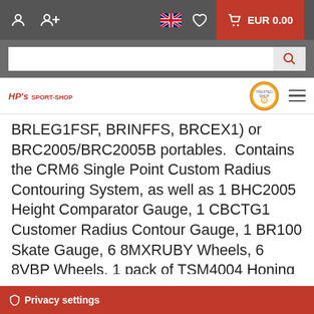EUR 0.00
[Figure (screenshot): HPs Sport-Shop logo with red text, Trusted Shop e-badge, and hamburger menu icon]
BRLEG1FSF, BRINFFS, BRCEX1) or BRC2005/BRC2005B portables.  Contains the CRM6 Single Point Custom Radius Contouring System, as well as 1 BHC2005 Height Comparator Gauge, 1 CBCTG1 Customer Radius Contour Gauge, 1 BR100 Skate Gauge, 6 8MXRUBY Wheels, 6 8VBP Wheels, 1 pack of TSM4004 Honing Stones, 1 TSM4030 Gusto Glide, 1 TSM4040 Slick-It, 1 moval Brush, 1 TSM710
Privacy settings